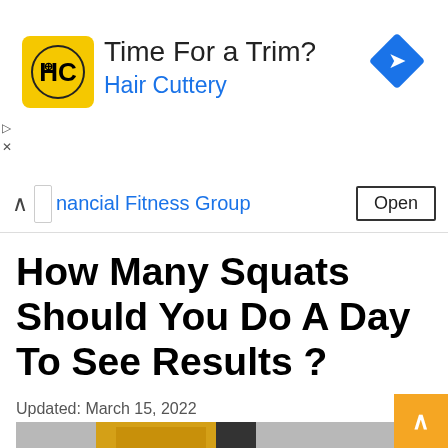[Figure (screenshot): Hair Cuttery advertisement banner with yellow HC logo, text 'Time For a Trim?' and 'Hair Cuttery' in blue, and a blue navigation diamond icon on the right]
Financial Fitness Group   Open
How Many Squats Should You Do A Day To See Results ?
Updated: March 15, 2022
[Figure (photo): Partial photo showing a person with weight plates behind them in a gym setting]